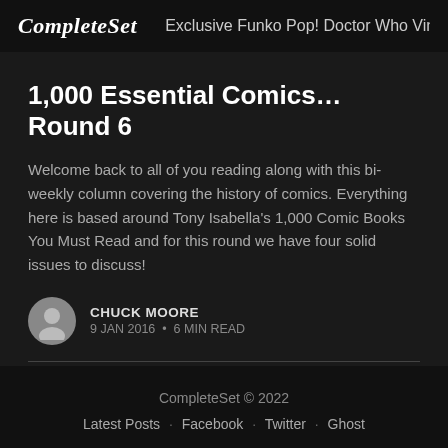CompleteSet   Exclusive Funko Pop! Doctor Who Vin…
1,000 Essential Comics… Round 6
Welcome back to all of you reading along with this bi-weekly column covering the history of comics. Everything here is based around Tony Isabella's 1,000 Comic Books You Must Read and for this round we have four solid issues to discuss!
CHUCK MOORE
9 JAN 2016 • 6 MIN READ
CompleteSet © 2022
Latest Posts · Facebook · Twitter · Ghost